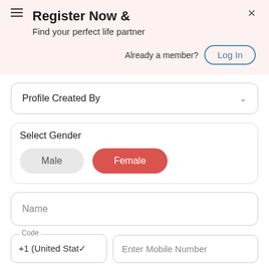Register Now &
Find your perfect life partner
Already a member?
Log In
Profile Created By
Select Gender
Male
Female
Name
Code
+1 (United Stat
Enter Mobile Number